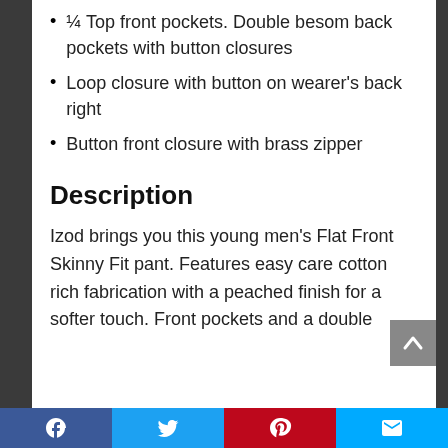¼ Top front pockets. Double besom back pockets with button closures
Loop closure with button on wearer's back right
Button front closure with brass zipper
Description
Izod brings you this young men's Flat Front Skinny Fit pant. Features easy care cotton rich fabrication with a peached finish for a softer touch. Front pockets and a double